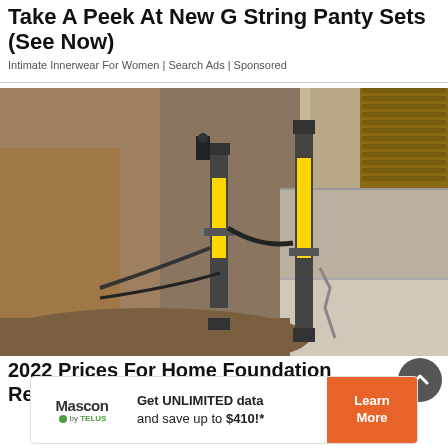Take A Peek At New G String Panty Sets (See Now)
Intimate Innerwear For Women | Search Ads | Sponsored
[Figure (photo): Construction workers performing home foundation repair, showing hydraulic support equipment with yellow and black cylinders attached to a concrete block foundation wall, with excavated dirt visible.]
2022 Prices For Home Foundation Repair
[Figure (infographic): Mascon by TELUS advertisement banner: Get UNLIMITED data and save up to $410!* with Learn More button in orange.]